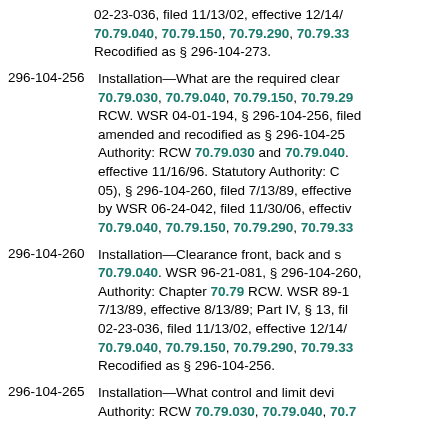02-23-036, filed 11/13/02, effective 12/14/ 70.79.040, 70.79.150, 70.79.290, 70.79.33 Recodified as § 296-104-273.
296-104-256 Installation—What are the required clear 70.79.030, 70.79.040, 70.79.150, 70.79.29 RCW. WSR 04-01-194, § 296-104-256, filed amended and recodified as § 296-104-25 Authority: RCW 70.79.030 and 70.79.040. effective 11/16/96. Statutory Authority: C 05), § 296-104-260, filed 7/13/89, effective by WSR 06-24-042, filed 11/30/06, effectiv 70.79.040, 70.79.150, 70.79.290, 70.79.33
296-104-260 Installation—Clearance front, back and s 70.79.040. WSR 96-21-081, § 296-104-260, Authority: Chapter 70.79 RCW. WSR 89-1 7/13/89, effective 8/13/89; Part IV, § 13, fil 02-23-036, filed 11/13/02, effective 12/14/ 70.79.040, 70.79.150, 70.79.290, 70.79.33 Recodified as § 296-104-256.
296-104-265 Installation—What control and limit devi Authority: RCW 70.79.030, 70.79.040, 70.7